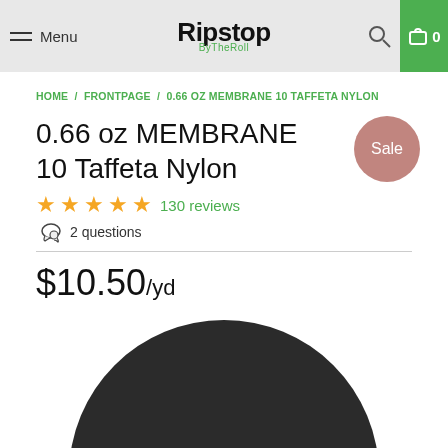Menu | Ripstop ByTheRoll | Search | Cart 0
HOME / FRONTPAGE / 0.66 OZ MEMBRANE 10 TAFFETA NYLON
0.66 oz MEMBRANE 10 Taffeta Nylon
Sale
★★★★★ 130 reviews
2 questions
$10.50/yd
[Figure (photo): Dark black circular fabric swatch shown against white background, cropped at bottom edge]